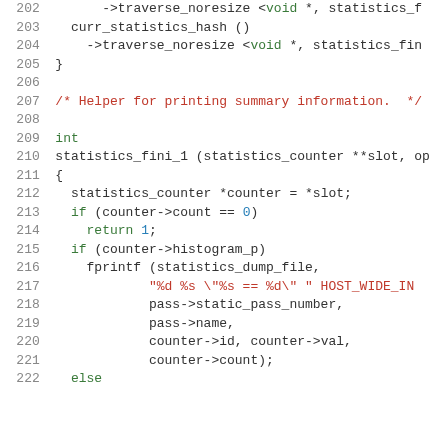[Figure (screenshot): Source code listing showing C code lines 202-222, with syntax highlighting. Line numbers in gray on left, code with green keywords, red strings/comments, blue numbers on white background.]